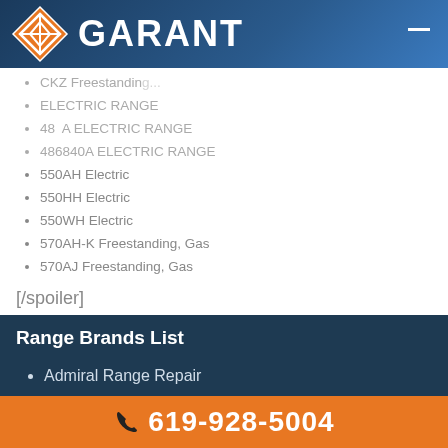[Figure (logo): Garant company logo with diamond/hexagon icon and GARANT text on blue gradient header bar]
CKZ Freestanding (partially visible)
ELECTRIC RANGE (partially visible)
48 A ELECTRIC RANGE
486840A ELECTRIC RANGE
550AH Electric
550HH Electric
550WH Electric
570AH-K Freestanding, Gas
570AJ Freestanding, Gas
[/spoiler]
Range Brands List
Admiral Range Repair
Amana Range Repair
Avanti Range Repair
619-928-5004